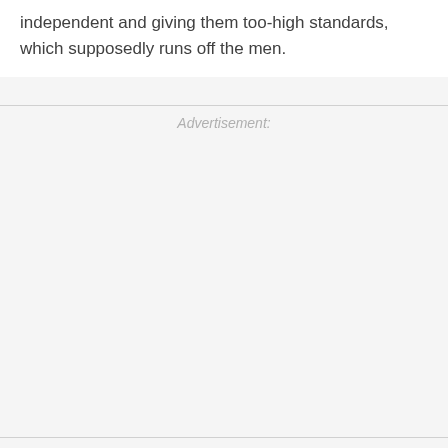independent and giving them too-high standards, which supposedly runs off the men.
Advertisement: